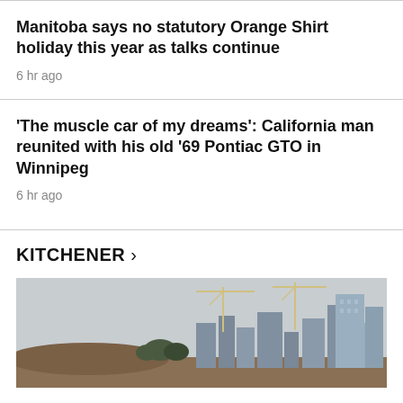Manitoba says no statutory Orange Shirt holiday this year as talks continue
6 hr ago
'The muscle car of my dreams': California man reunited with his old '69 Pontiac GTO in Winnipeg
6 hr ago
KITCHENER >
[Figure (photo): Cityscape/skyline photo showing construction cranes and buildings against an overcast sky, with dirt/rubble in the foreground]